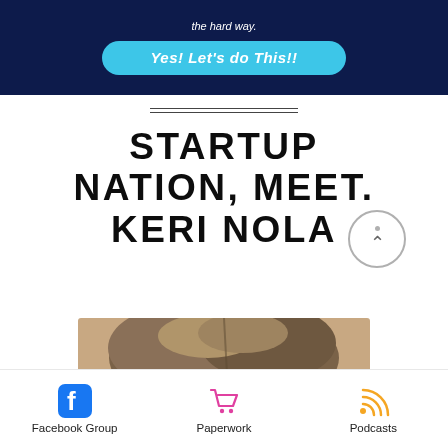[Figure (screenshot): Dark navy banner with cyan CTA button reading 'Yes! Let's do This!!' with partial text above.]
Yes! Let's do This!!
STARTUP NATION, MEET. KERI NOLA
[Figure (photo): Top of a woman's head with brown hair visible from forehead up.]
Facebook Group   Paperwork   Podcasts